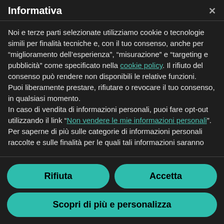Informativa
Noi e terze parti selezionate utilizziamo cookie o tecnologie simili per finalità tecniche e, con il tuo consenso, anche per "miglioramento dell'esperienza", "misurazione" e "targeting e pubblicità" come specificato nella cookie policy. Il rifiuto del consenso può rendere non disponibili le relative funzioni.
Puoi liberamente prestare, rifiutare o revocare il tuo consenso, in qualsiasi momento.
In caso di vendita di informazioni personali, puoi fare opt-out utilizzando il link "Non vendere le mie informazioni personali".
Per saperne di più sulle categorie di informazioni personali raccolte e sulle finalità per le quali tali informazioni saranno
Rifiuta
Accetta
Scopri di più e personalizza